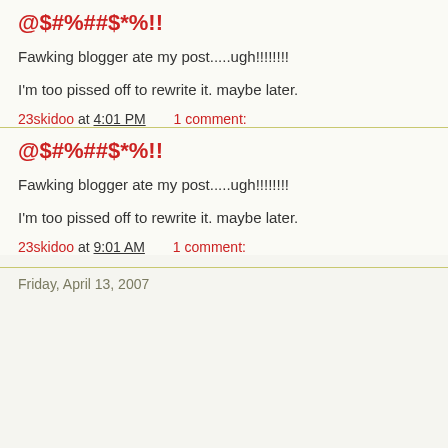@$#%##$*%!!
Fawking blogger ate my post.....ugh!!!!!!!!
I'm too pissed off to rewrite it. maybe later.
23skidoo at 4:01 PM    1 comment:
@$#%##$*%!!
Fawking blogger ate my post.....ugh!!!!!!!!
I'm too pissed off to rewrite it. maybe later.
23skidoo at 9:01 AM    1 comment:
Friday, April 13, 2007